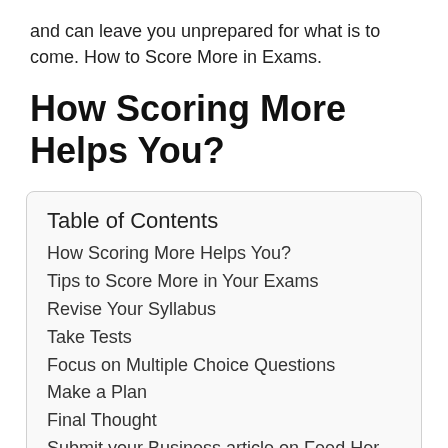and can leave you unprepared for what is to come. How to Score More in Exams.
How Scoring More Helps You?
| Table of Contents |
| --- |
| How Scoring More Helps You? |
| Tips to Score More in Your Exams |
| Revise Your Syllabus |
| Take Tests |
| Focus on Multiple Choice Questions |
| Make a Plan |
| Final Thought |
| Submit your Business article on Feed Her To The Sharks and get a #1 Rank on google. Just |
How Scoring More Helps You?
Tips to Score More in Your Exams
Revise Your Syllabus
Take Tests
Focus on Multiple Choice Questions
Make a Plan
Final Thought
Submit your Business article on Feed Her To The Sharks and get a #1 Rank on google. Just